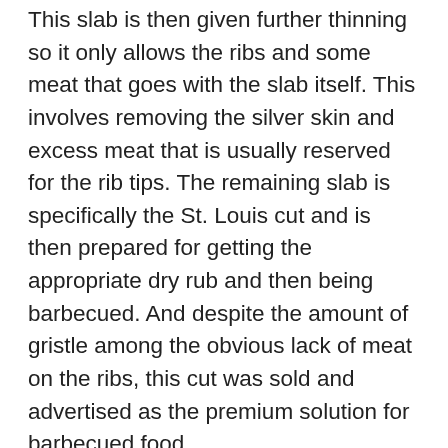This slab is then given further thinning so it only allows the ribs and some meat that goes with the slab itself. This involves removing the silver skin and excess meat that is usually reserved for the rib tips. The remaining slab is specifically the St. Louis cut and is then prepared for getting the appropriate dry rub and then being barbecued. And despite the amount of gristle among the obvious lack of meat on the ribs, this cut was sold and advertised as the premium solution for barbecued food.
The next element that makes St. Louis ribs flavor instantly become recognized is the sauce that is used. There is a dry rub that is commonly used but